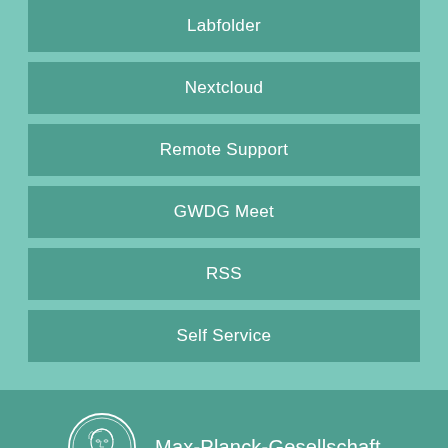Labfolder
Nextcloud
Remote Support
GWDG Meet
RSS
Self Service
[Figure (logo): Max-Planck-Gesellschaft circular coin logo with portrait]
Max-Planck-Gesellschaft
Sitemap   Imprint   Privacy Policy   © 2022 Max-Planck-Gesellschaft